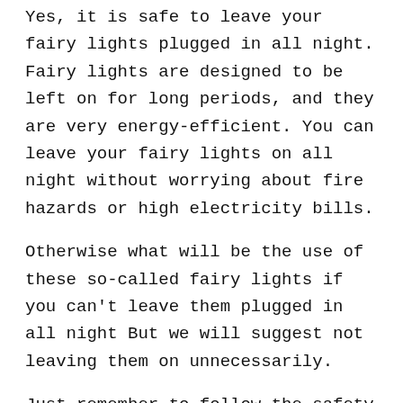Yes, it is safe to leave your fairy lights plugged in all night. Fairy lights are designed to be left on for long periods, and they are very energy-efficient. You can leave your fairy lights on all night without worrying about fire hazards or high electricity bills.
Otherwise what will be the use of these so-called fairy lights if you can't leave them plugged in all night But we will suggest not leaving them on unnecessarily.
Just remember to follow the safety guidelines listed above, and you will be able to enjoy your fairy lights all night long. Thanks for reading!
Can you use string lights